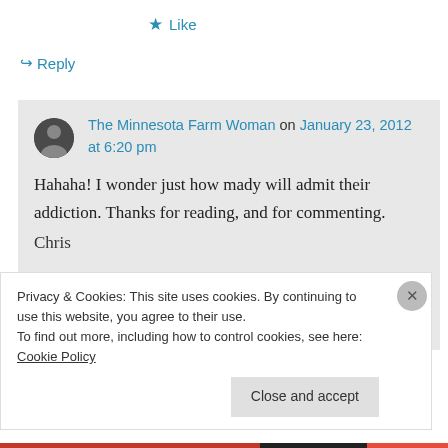★ Like
↪ Reply
The Minnesota Farm Woman on January 23, 2012 at 6:20 pm

Hahaha! I wonder just how mady will admit their addiction. Thanks for reading, and for commenting.

Chris
Privacy & Cookies: This site uses cookies. By continuing to use this website, you agree to their use.
To find out more, including how to control cookies, see here: Cookie Policy
Close and accept